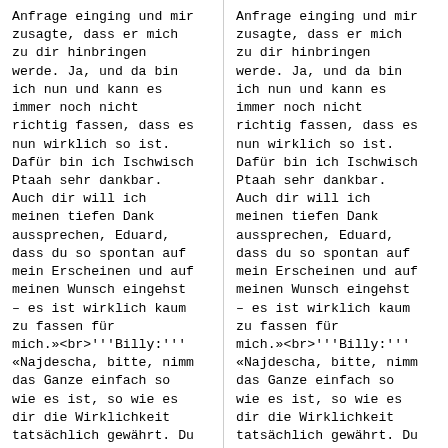Anfrage einging und mir zusagte, dass er mich zu dir hinbringen werde. Ja, und da bin ich nun und kann es immer noch nicht richtig fassen, dass es nun wirklich so ist. Dafür bin ich Ischwisch Ptaah sehr dankbar. Auch dir will ich meinen tiefen Dank aussprechen, Eduard, dass du so spontan auf mein Erscheinen und auf meinen Wunsch eingehst – es ist wirklich kaum zu fassen für mich.»<br>'''Billy:''' «Najdescha, bitte, nimm das Ganze einfach so wie es ist, so wie es dir die Wirklichkeit tatsächlich gewährt. Du bist hier, und das ist
Anfrage einging und mir zusagte, dass er mich zu dir hinbringen werde. Ja, und da bin ich nun und kann es immer noch nicht richtig fassen, dass es nun wirklich so ist. Dafür bin ich Ischwisch Ptaah sehr dankbar. Auch dir will ich meinen tiefen Dank aussprechen, Eduard, dass du so spontan auf mein Erscheinen und auf meinen Wunsch eingehst – es ist wirklich kaum zu fassen für mich.»<br>'''Billy:''' «Najdescha, bitte, nimm das Ganze einfach so wie es ist, so wie es dir die Wirklichkeit tatsächlich gewährt. Du bist hier, und das ist